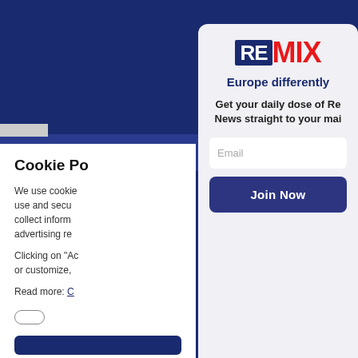[Figure (logo): REMIX news logo with RE in dark navy box and MIX in red]
Europe differently
Get your daily dose of Re... News straight to your mai...
Email
Join Now
Cookie Po...
We use cookie... use and secu... collect inform... advertising re...
Clicking on "Ac... or customize,...
Read more: C...
respo...